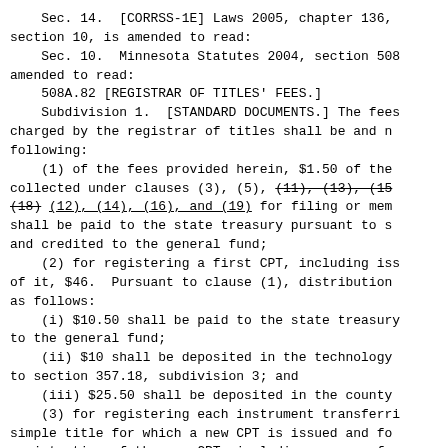Sec. 14.  [CORRSS-1E] Laws 2005, chapter 136, section 10, is amended to read:
    Sec. 10.  Minnesota Statutes 2004, section 508 amended to read:
    508A.82 [REGISTRAR OF TITLES' FEES.]
    Subdivision 1.  [STANDARD DOCUMENTS.] The fees charged by the registrar of titles shall be and n following:
    (1) of the fees provided herein, $1.50 of the collected under clauses (3), (5), (11), (13), (15 (18) (12), (14), (16), and (19) for filing or mem shall be paid to the state treasury pursuant to s and credited to the general fund;
    (2) for registering a first CPT, including iss of it, $46.  Pursuant to clause (1), distribution as follows:
    (i) $10.50 shall be paid to the state treasury to the general fund;
    (ii) $10 shall be deposited in the technology to section 357.18, subdivision 3; and
    (iii) $25.50 shall be deposited in the county
    (3) for registering each instrument transferri simple title for which a new CPT is issued and fo registration of the new CPT, including a copy of Pursuant to clause (1), distribution of the fees